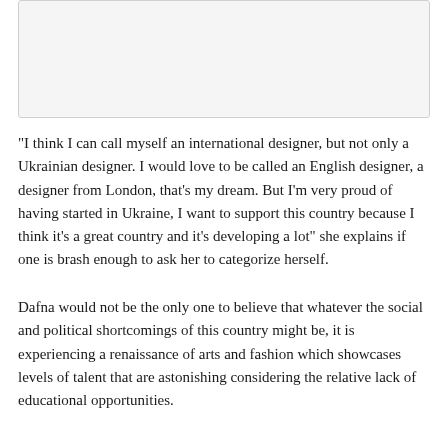[Figure (photo): Image placeholder at the top of the page (appears to be a photo, shown as a light gray box)]
“I think I can call myself an international designer, but not only a Ukrainian designer. I would love to be called an English designer, a designer from London, that’s my dream. But I’m very proud of having started in Ukraine, I want to support this country because I think it’s a great country and it’s developing a lot” she explains if one is brash enough to ask her to categorize herself.
Dafna would not be the only one to believe that whatever the social and political shortcomings of this country might be, it is experiencing a renaissance of arts and fashion which showcases levels of talent that are astonishing considering the relative lack of educational opportunities.